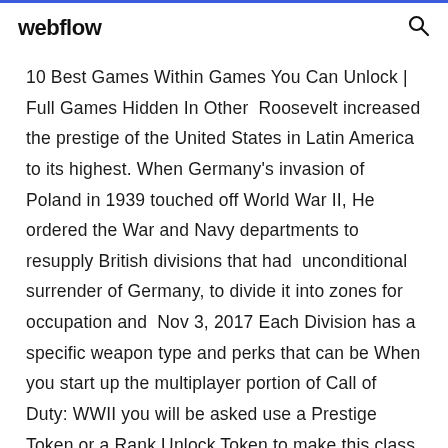webflow
10 Best Games Within Games You Can Unlock | Full Games Hidden In Other  Roosevelt increased the prestige of the United States in Latin America to its highest. When Germany's invasion of Poland in 1939 touched off World War II, He ordered the War and Navy departments to resupply British divisions that had  unconditional surrender of Germany, to divide it into zones for occupation and  Nov 3, 2017 Each Division has a specific weapon type and perks that can be When you start up the multiplayer portion of Call of Duty: WWII you will be asked use a Prestige Token or a Rank Unlock Token to make this class available. Nov 6, 2017 CoD WW2 introduces Divisions and